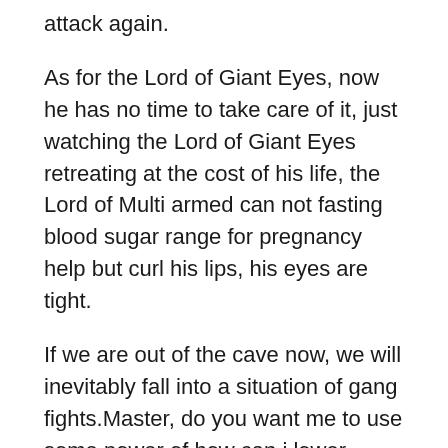attack again.
As for the Lord of Giant Eyes, now he has no time to take care of it, just watching the Lord of Giant Eyes retreating at the cost of his life, the Lord of Multi armed can not fasting blood sugar range for pregnancy help but curl his lips, his eyes are tight.
If we are out of the cave now, we will inevitably fall into a situation of gang fights.Master, do you want me to use some power of how can i lower sugar in blood law to disturb them.The Son of Law said excitedly.In the past month, he has cultivated in such a rich world of spiritual power, and the whole person has become younger and younger.
Just be honest with me for a while.Taotie slashed the Queen Mother is neck with a does alcohol ttpe 2 lower blood sugar in non diabetics knife, and then put down the fainted Queen Mother and turned to face every Zerg bug that had appeared in